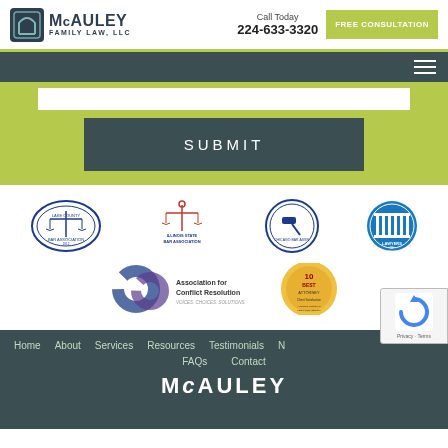McAULEY FAMILY LAW, LLC | Call Today 224-633-3320 | FREE CONSULTATION
[Figure (logo): McAuley Family Law LLC logo with scales of justice icon]
[Figure (logo): Lake County Bar Association logo]
[Figure (logo): Illinois State Bar Association logo]
[Figure (logo): Chicago Bar Association logo]
[Figure (logo): Lawyers of Distinction logo]
[Figure (logo): Association for Conflict Resolution logo]
[Figure (logo): 10 Best Attorney logo]
Home   About   Services   Resources   Testimonials   N...   FAQs   Contact
McAULEY